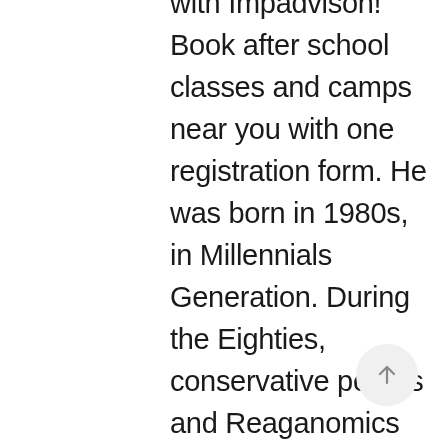with Impadvison! Book after school classes and camps near you with one registration form. He was born in 1980s, in Millennials Generation. During the Eighties, conservative politics and Reaganomics held sway as the Berlin Wall crumbled, new computer technologies emerged and blockbuster movies and MTV reshaped pop culture. The first-ever "Star Circle Quest" winner is one of the cast members for "Love Will Lead You Back" —